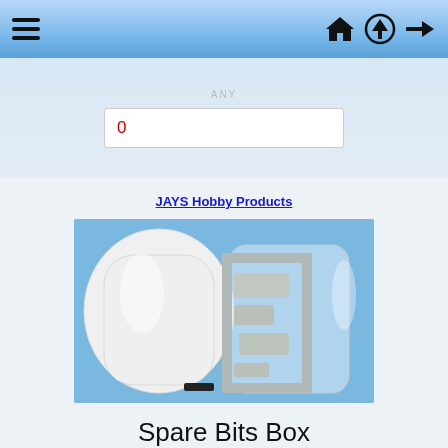Navigation bar with hamburger menu, home icon, upload icon, and login icon
ANY (filter label)
0
JAYS Hobby Products
[Figure (photo): Photo of model kit spare parts in plastic bags — a white opaque bag on the left and a transparent plastic bag containing a grey plastic sprue/frame with model parts on the right, against a blue background.]
Spare Bits Box